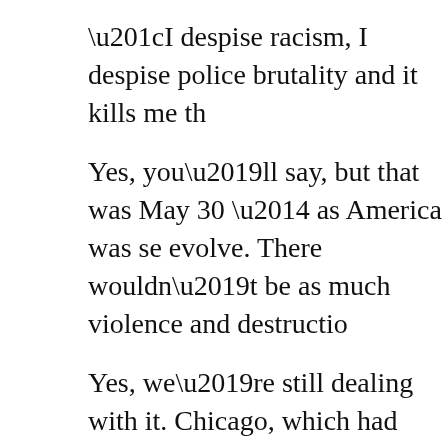“I despise racism, I despise police brutality and it kills me th
Yes, you’ll say, but that was May 30 — as America was se evolve. There wouldn’t be as much violence and destructio
Yes, we’re still dealing with it. Chicago, which had already s
According to Chicago Sun-Times, the unrest was set off b on video), Allen shot at them first.
Police had responded after a 911 caller said Allen was fig
“We could be talking about another dead child shot in our c
Chicago has seen numerous children killed this summer, inc
Allen’s family said he didn’t have a gun and stressed office
“He was willing to shoot multiple times at armed law enfor said.